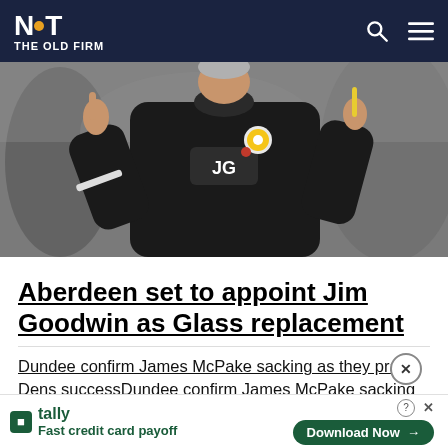NOT THE OLD FIRM
[Figure (photo): A football manager wearing a black Joma gilet with 'JG' initials and a St Mirren badge, pointing with one hand and holding a yellow card or notepad in the other, with a crowd in the background.]
Aberdeen set to appoint Jim Goodwin as Glass replacement
Dundee confirm James McPake sacking as they praise Dens successDundee confirm James McPake sacking as they look to avoid...
[Figure (infographic): Advertisement banner for Tally app: 'Fast credit card payoff' with Download Now button]